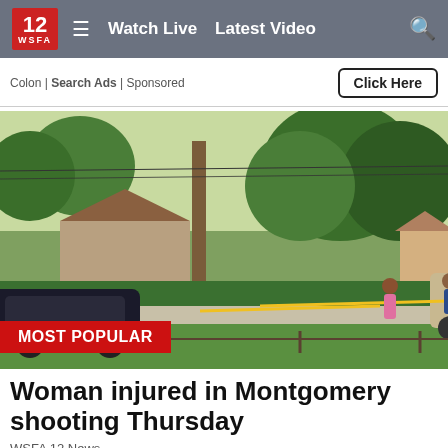WSFA 12 | Watch Live  Latest Video
Colon | Search Ads | Sponsored   Click Here
[Figure (photo): Crime scene photograph showing a suburban neighborhood street with police tape cordoning off an area. Officers in uniform and civilians are visible. A dark car is parked on the left, and an SUV is visible in the background near residential homes and large trees. Bright daytime lighting.]
Woman injured in Montgomery shooting Thursday
WSFA 12 News